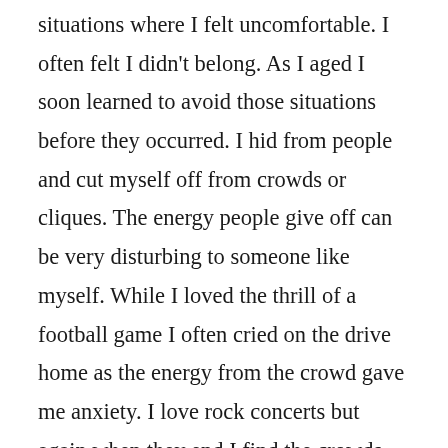situations where I felt uncomfortable. I often felt I didn't belong. As I aged I soon learned to avoid those situations before they occurred. I hid from people and cut myself off from crowds or cliques. The energy people give off can be very disturbing to someone like myself. While I loved the thrill of a football game I often cried on the drive home as the energy from the crowd gave me anxiety. I love rock concerts but again when they end I find the crowds cause me angst. Now in my senior years, which I can't believe I am, I do put myself out there. Partly because my husband died but also because I realize without exposing myself to the world I will never meet those people I so long to know. The ones who are modern day philosophers. The deep thinkers. Those who sit back and watch the world as